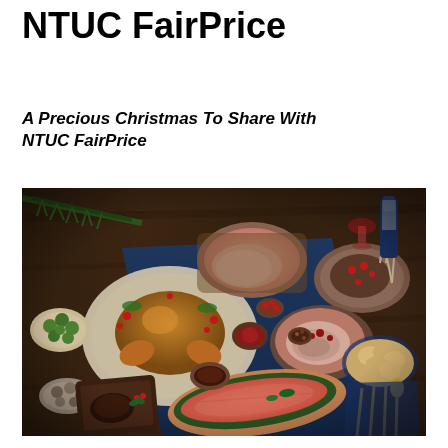NTUC FairPrice
A Precious Christmas To Share With NTUC FairPrice
[Figure (photo): Overhead flat-lay photograph of a Christmas feast spread on a dark wooden table with a blue runner. Features a roasted turkey on a large plate with cranberries, sliced ham, bread rolls, salmon on an oval platter, various sauces and condiments, mushrooms, brussels sprouts, a bottle of wine with a glass, cutlery, and pine branch decorations.]